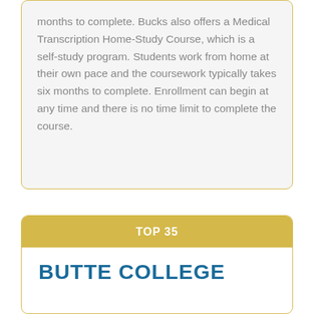months to complete. Bucks also offers a Medical Transcription Home-Study Course, which is a self-study program. Students work from home at their own pace and the coursework typically takes six months to complete. Enrollment can begin at any time and there is no time limit to complete the course.
TOP 35
BUTTE COLLEGE